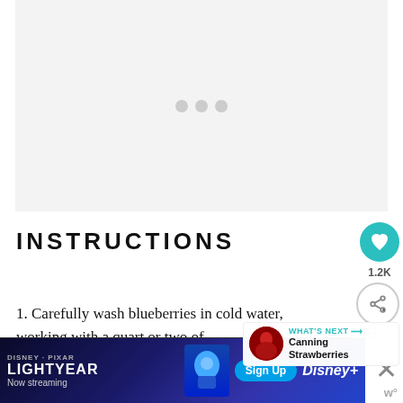[Figure (photo): Image placeholder area with three loading dots on light gray background]
INSTRUCTIONS
Carefully wash blueberries in cold water, working with a quart or two of at a time. Drain the berries, removing any spoiled berries, stems, and leaves as you